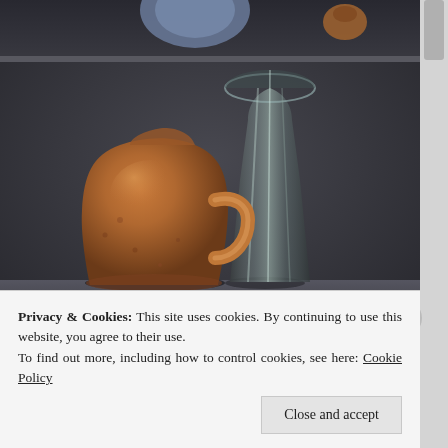[Figure (photo): A still life painting/photograph showing a brown ceramic jug with a handle on the left and a tall dark glass vase with a flared top on the right, set against a dark gray background. In the upper portion, partially visible objects (a blue form and a small brown vessel) can be seen from a previous image section.]
Privacy & Cookies: This site uses cookies. By continuing to use this website, you agree to their use.
To find out more, including how to control cookies, see here: Cookie Policy
Close and accept